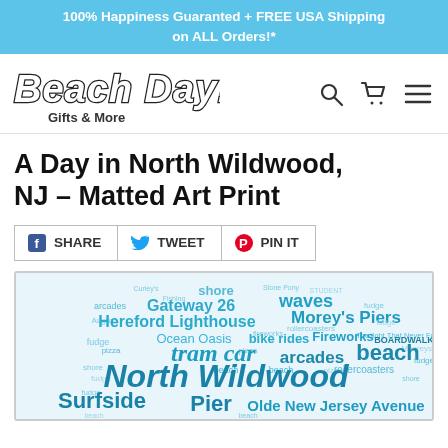100% Happiness Guaranted + FREE USA Shipping on ALL Orders!*
[Figure (logo): Beach Day! Gifts & More logo with stylized bubble text and navigation icons (search, cart, menu)]
A Day in North Wildwood, NJ – Matted Art Print
SHARE  TWEET  PIN IT
[Figure (illustration): Word cloud art print featuring North Wildwood NJ themed words including: shore, Gateway 26, waves, Morey's Piers, Hereford Lighthouse, bike rides, Fireworks, BOARDWALK, tram car, arcades, beach, fudge, rollercoasters, North Wildwood, Surfside, Pier, Olde New Jersey Avenue, Ocean Oasis, pizza, fudge. Words arranged in a decorative shape on light blue background.]